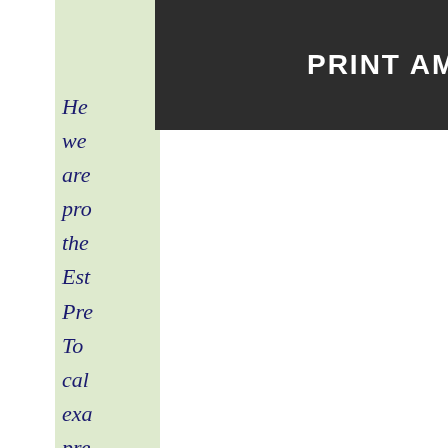PRINT AMULYA JEEVAN PREMIUM
He we are pro the Est Pre To cal exa pre use LIC of Ind